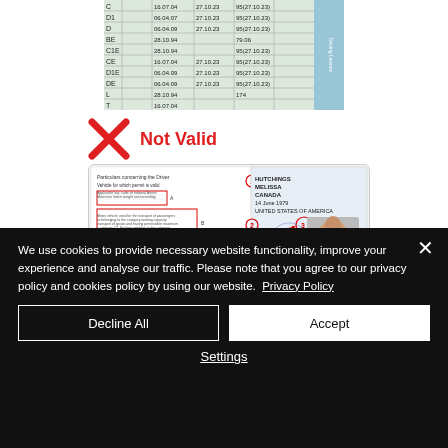[Figure (photo): Portion of a European driving license showing category table with rows for C, D1, D, BE, C1E, CE, D1E, DE, L, T with dates and codes]
[Figure (infographic): Red X mark with 'Not Valid' text in red, followed by an image of an International Driving Permit document with numbered callouts]
We use cookies to provide necessary website functionality, improve your experience and analyse our traffic. Please note that you agree to our privacy policy and cookies policy by using our website. Privacy Policy
Decline All
Accept
Settings